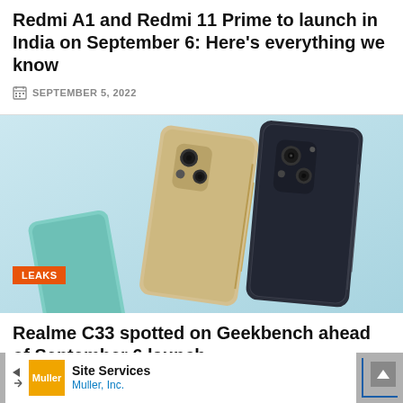Redmi A1 and Redmi 11 Prime to launch in India on September 6: Here's everything we know
SEPTEMBER 5, 2022
[Figure (photo): Three Realme C33 smartphones shown from the back — gold/champagne, dark navy, and teal/mint colors — arranged against a light blue gradient background. An orange 'LEAKS' badge is overlaid in the bottom-left corner.]
Realme C33 spotted on Geekbench ahead of September 6 launch
SEPTEMBER 5, 2022
Site Services Muller, Inc.